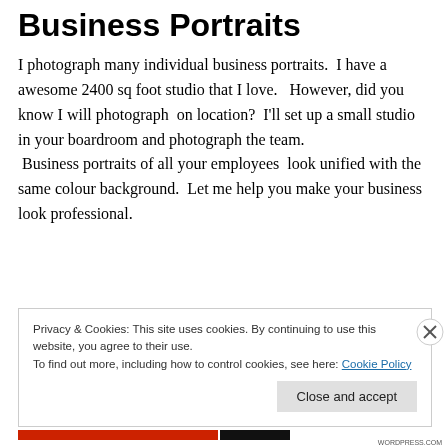Business Portraits
I photograph many individual business portraits.  I have a awesome 2400 sq foot studio that I love.   However, did you know I will photograph  on location?  I'll set up a small studio in your boardroom and photograph the team.  Business portraits of all your employees  look unified with the same colour background.  Let me help you make your business look professional.
Privacy & Cookies: This site uses cookies. By continuing to use this website, you agree to their use.
To find out more, including how to control cookies, see here: Cookie Policy
Close and accept